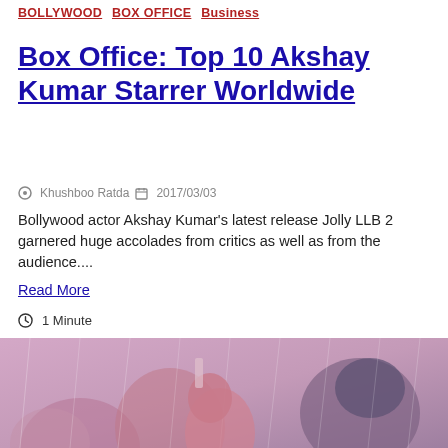BOLLYWOOD  BOX OFFICE  Business
Box Office: Top 10 Akshay Kumar Starrer Worldwide
Khushboo Ratda  2017/03/03
Bollywood actor Akshay Kumar's latest release Jolly LLB 2 garnered huge accolades from critics as well as from the audience....
Read More
1 Minute
[Figure (photo): Crowd celebrating with Akshay Kumar, people cheering in a festive scene with someone in a helmet on the right side]